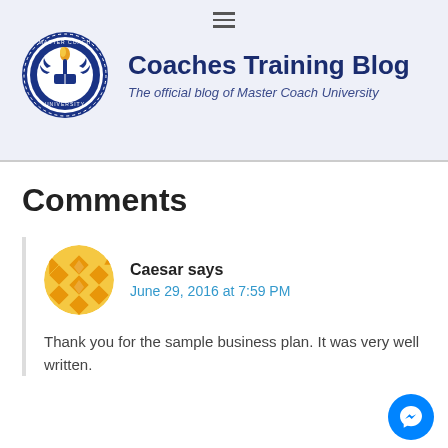Coaches Training Blog — The official blog of Master Coach University
Comments
Caesar says
June 29, 2016 at 7:59 PM
Thank you for the sample business plan. It was very well written.